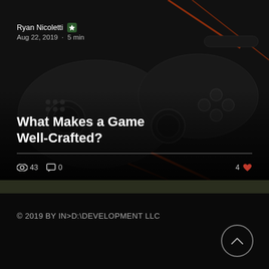[Figure (screenshot): Dark gaming controller article card with photo background showing black game controller with orange accents. Shows author Ryan Nicoletti with star badge, date Aug 22 2019, 5 min read, article title 'What Makes a Game Well-Crafted?', view count 43, comment count 0, like count 4.]
Ryan Nicoletti ★ Aug 22, 2019 · 5 min
What Makes a Game Well-Crafted?
43  0  4
© 2019 BY IN>D:\DEVELOPMENT LLC